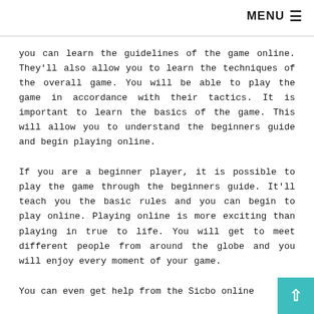MENU ☰
you can learn the guidelines of the game online. They'll also allow you to learn the techniques of the overall game. You will be able to play the game in accordance with their tactics. It is important to learn the basics of the game. This will allow you to understand the beginners guide and begin playing online.
If you are a beginner player, it is possible to play the game through the beginners guide. It'll teach you the basic rules and you can begin to play online. Playing online is more exciting than playing in true to life. You will get to meet different people from around the globe and you will enjoy every moment of your game.
You can even get help from the Sicbo online